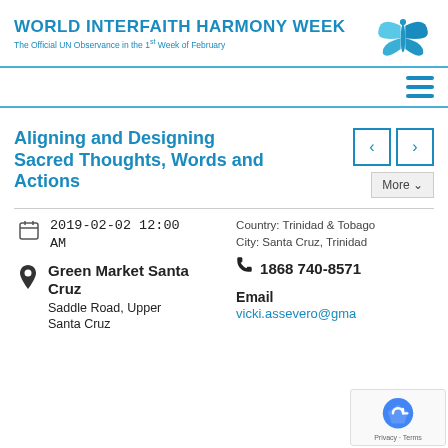WORLD INTERFAITH HARMONY WEEK
The Official UN Observance in the 1st Week of February
Aligning and Designing Sacred Thoughts, Words and Actions
2019-02-02 12:00 AM
Green Market Santa Cruz
Saddle Road, Upper Santa Cruz
Country: Trinidad & Tobago
City: Santa Cruz, Trinidad
1868 740-8571
Email
vicki.assevero@gma...